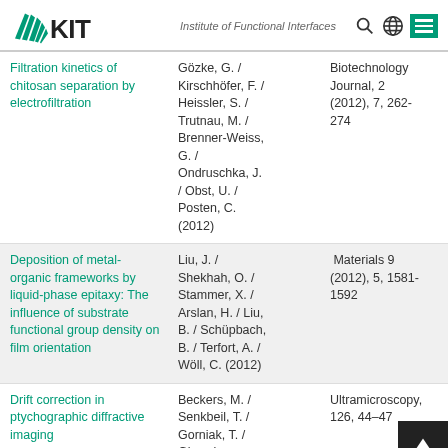KIT – Institute of Functional Interfaces
| Title | Authors | Journal |
| --- | --- | --- |
| Filtration kinetics of chitosan separation by electrofiltration | Gözke, G. / Kirschhöfer, F. / Heissler, S. / Trutnau, M. / Brenner-Weiss, G. / Ondruschka, J. / Obst, U. / Posten, C. (2012) | Biotechnology Journal, 2 (2012), 7, 262-274 |
| Deposition of metal-organic frameworks by liquid-phase epitaxy: The influence of substrate functional group density on film orientation | Liu, J. / Shekhah, O. / Stammer, X. / Arslan, H. / Liu, B. / Schüpbach, B. / Terfort, A. / Wöll, C. (2012) | Materials 9 (2012), 5, 1581-1592 |
| Drift correction in ptychographic diffractive imaging | Beckers, M. / Senkbeil, T. / Gorniak, T. / Giewekemeyer, | Ultramicroscopy, 126, 44–47 |